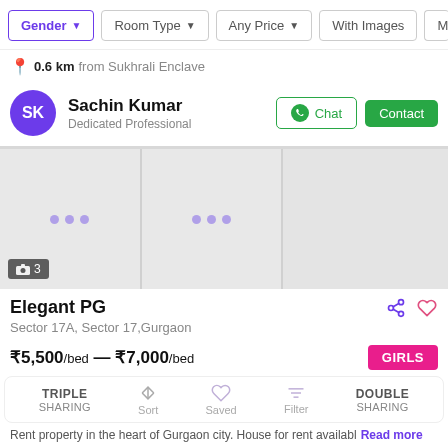Gender | Room Type | Any Price | With Images | Mo...
0.6 km from Sukhrali Enclave
Sachin Kumar — Dedicated Professional
[Figure (photo): Property image gallery placeholder with 3 loading image panels]
Elegant PG
Sector 17A, Sector 17, Gurgaon
₹5,500/bed — ₹7,000/bed
TRIPLE SHARING | DOUBLE SHARING
Rent property in the heart of Gurgaon city. House for rent availabl... Read more